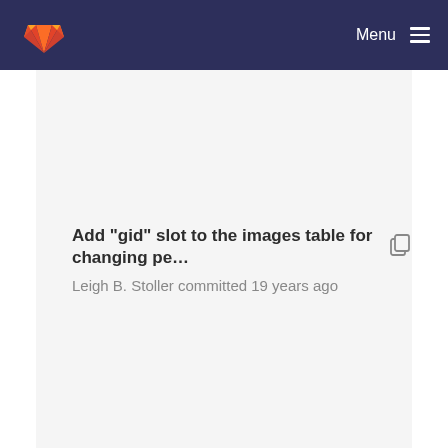Menu
Add "gid" slot to the images table for changing pe...
Leigh B. Stoller committed 19 years ago